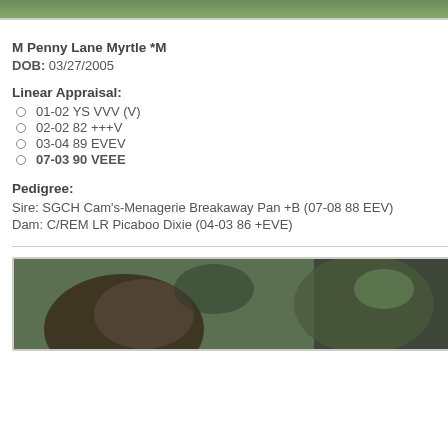[Figure (photo): Top portion of a photo showing green foliage/trees]
M Penny Lane Myrtle *M
DOB: 03/27/2005
Linear Appraisal:
01-02 YS VVV (V)
02-02 82 +++V
03-04 89 EVEV
07-03 90 VEEE
Pedigree:
Sire: SGCH Cam's-Menagerie Breakaway Pan +B (07-08 88 EEV)
Dam: C/REM LR Picaboo Dixie (04-03 86 +EVE)
[Figure (photo): Bottom photo showing a person with a goat outdoors]